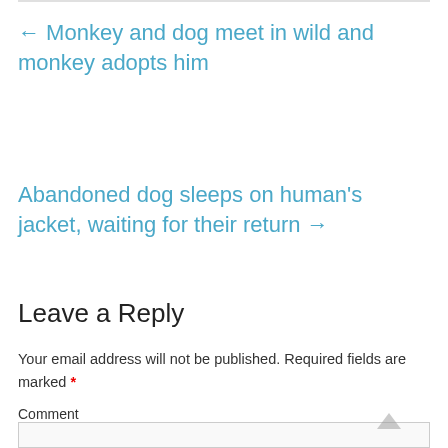← Monkey and dog meet in wild and monkey adopts him
Abandoned dog sleeps on human's jacket, waiting for their return →
Leave a Reply
Your email address will not be published. Required fields are marked *
Comment